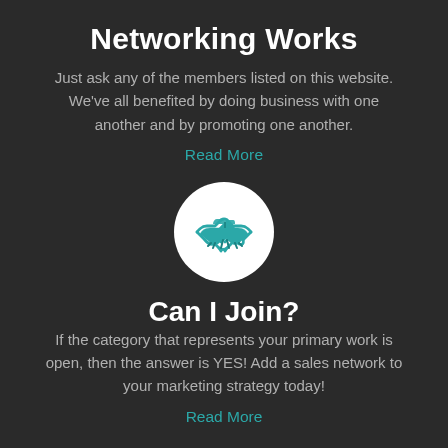Networking Works
Just ask any of the members listed on this website. We've all benefited by doing business with one another and by promoting one another.
Read More
[Figure (illustration): White circle with a teal handshake icon in the center]
Can I Join?
If the category that represents your primary work is open, then the answer is YES! Add a sales network to your marketing strategy today!
Read More